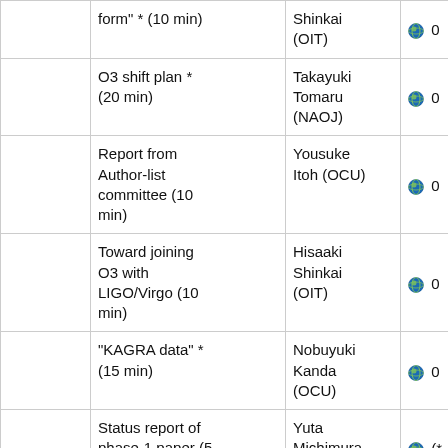|  | Title | Speaker | Slides |
| --- | --- | --- | --- |
|  | form" * (10 min) | Shinkai (OIT) | 0 |
|  | O3 shift plan * (20 min) | Takayuki Tomaru (NAOJ) | 0 |
|  | Report from Author-list committee (10 min) | Yousuke Itoh (OCU) | 0 |
|  | Toward joining O3 with LIGO/Virgo (10 min) | Hisaaki Shinkai (OIT) | 0 |
|  | "KAGRA data" * (15 min) | Nobuyuki Kanda (OCU) | 0 |
|  | Status report of phase-1 paper (5 min) | Yuta Michimura (UTokyo) | (*-*) |
|  | Status report of LVK observing scenario (2019 update) paper (5 | Sadakazu Haino (Academia | 0 |